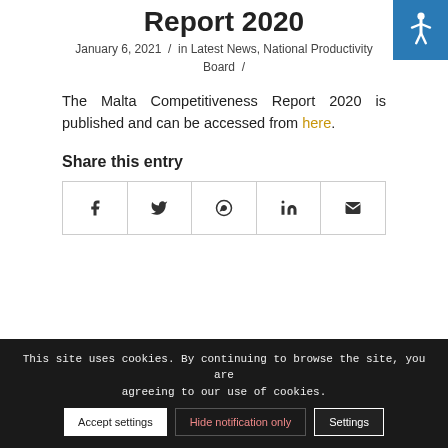Report 2020
January 6, 2021 / in Latest News, National Productivity Board /
The Malta Competitiveness Report 2020 is published and can be accessed from here.
Share this entry
[Figure (other): Social share icons row: Facebook, Twitter, WhatsApp, LinkedIn, Email]
This site uses cookies. By continuing to browse the site, you are agreeing to our use of cookies.